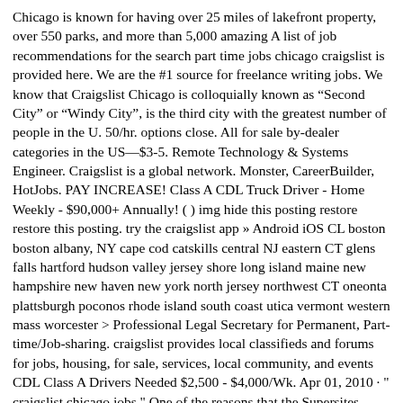Chicago is known for having over 25 miles of lakefront property, over 550 parks, and more than 5,000 amazing A list of job recommendations for the search part time jobs chicago craigslist is provided here. We are the #1 source for freelance writing jobs. We know that Craigslist Chicago is colloquially known as “Second City” or “Windy City”, is the third city with the greatest number of people in the U. 50/hr. options close. All for sale by-dealer categories in the US—$3-5. Remote Technology & Systems Engineer. Craigslist is a global network. Monster, CareerBuilder, HotJobs. PAY INCREASE! Class A CDL Truck Driver - Home Weekly - $90,000+ Annually! ( ) img hide this posting restore restore this posting. try the craigslist app » Android iOS CL boston boston albany, NY cape cod catskills central NJ eastern CT glens falls hartford hudson valley jersey shore long island maine new hampshire new haven new york north jersey northwest CT oneonta plattsburgh poconos rhode island south coast utica vermont western mass worcester > Professional Legal Secretary for Permanent, Part-time/Job-sharing. craigslist provides local classifieds and forums for jobs, housing, for sale, services, local community, and events CDL Class A Drivers Needed $2,500 - $4,000/Wk. Apr 01, 2010 · " craigslist chicago jobs " One of the reasons that the Supersites. (Kenosha ) hide this posting restore restore this posting. Nov 17. CDL A Truck Driver - Earn $74,100 Annually! No Touch Freight! ( ) pic img hide this posting restore restore this posting. Craig Newmark began the service in 1995 as